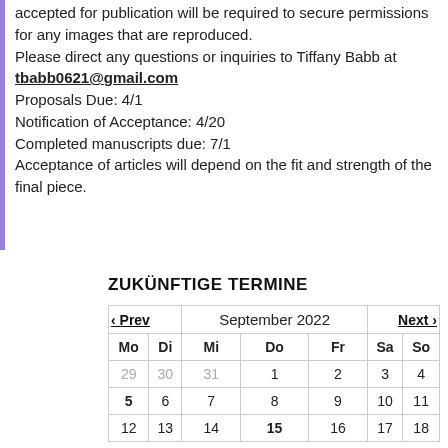accepted for publication will be required to secure permissions for any images that are reproduced.
Please direct any questions or inquiries to Tiffany Babb at tbabb0621@gmail.com
Proposals Due: 4/1
Notification of Acceptance: 4/20
Completed manuscripts due: 7/1
Acceptance of articles will depend on the fit and strength of the final piece.
ZUKÜNFTIGE TERMINE
| Mo | Di | Mi | Do | Fr | Sa | So |
| --- | --- | --- | --- | --- | --- | --- |
| 29 | 30 | 31 | 1 | 2 | 3 | 4 |
| 5 | 6 | 7 | 8 | 9 | 10 | 11 |
| 12 | 13 | 14 | 15 | 16 | 17 | 18 |